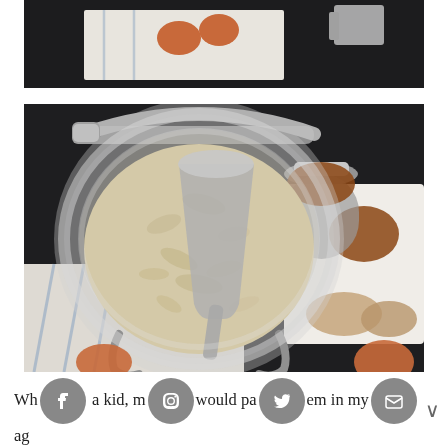[Figure (photo): Top portion of a food photography image showing eggs on a white linen cloth and baking ingredients on a dark surface, cropped view]
[Figure (photo): Overhead food photography of a glass jar filled with oats and a metal measuring cup/scoop inside, surrounded by a small jar of cinnamon, a white tray with ingredients (pecans, oats), and a kitchen towel with blue stripes, all on a dark background with eggs visible at bottom]
When I was a kid, my mom would pack them in my lunch bag every once in a while as a special treat, and I remember them being